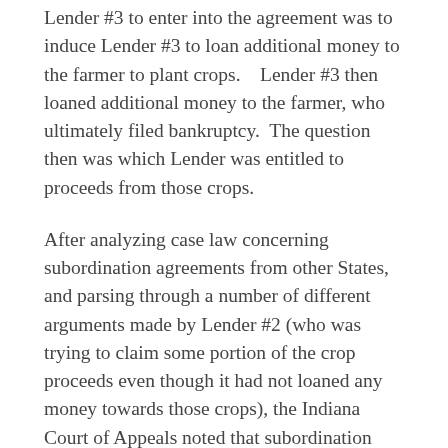Lender #3 to enter into the agreement was to induce Lender #3 to loan additional money to the farmer to plant crops.   Lender #3 then loaned additional money to the farmer, who ultimately filed bankruptcy.  The question then was which Lender was entitled to proceeds from those crops.
After analyzing case law concerning subordination agreements from other States, and parsing through a number of different arguments made by Lender #2 (who was trying to claim some portion of the crop proceeds even though it had not loaned any money towards those crops), the Indiana Court of Appeals noted that subordination agreements are merely contracts. They are contracts that